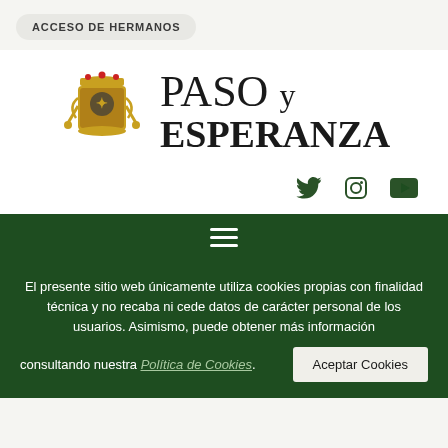ACCESO DE HERMANOS
[Figure (logo): Paso y Esperanza logo with heraldic emblem on the left and bold serif text reading 'PASO y ESPERANZA' on the right]
[Figure (infographic): Social media icons: Twitter bird, Instagram camera, YouTube play button, all in dark green]
[Figure (infographic): Dark green navigation bar with hamburger menu icon (three white horizontal lines)]
El presente sitio web únicamente utiliza cookies propias con finalidad técnica y no recaba ni cede datos de carácter personal de los usuarios. Asimismo, puede obtener más información consultando nuestra Política de Cookies. Aceptar Cookies